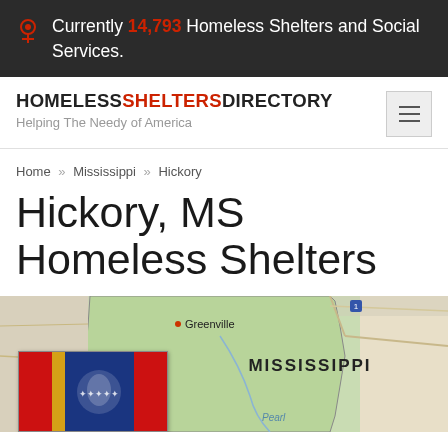Currently 14,793 Homeless Shelters and Social Services.
HOMELESS SHELTERS DIRECTORY — Helping The Needy of America
Home » Mississippi » Hickory
Hickory, MS Homeless Shelters
[Figure (map): Map of Mississippi showing Greenville label, Pearl river label, state outline with green background coloring. Mississippi state flag in lower left corner overlay.]